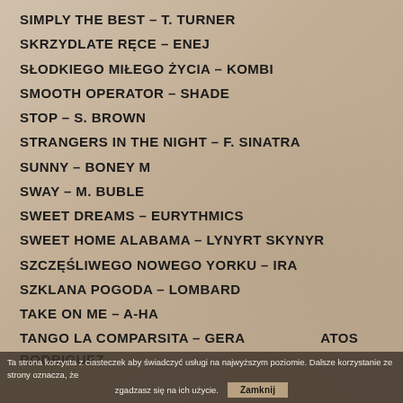SIMPLY THE BEST – T. TURNER
SKRZYDLATE RĘCE – ENEJ
SŁODKIEGO MIŁEGO ŻYCIA – KOMBI
SMOOTH OPERATOR – SHADE
STOP – S. BROWN
STRANGERS IN THE NIGHT – F. SINATRA
SUNNY – BONEY M
SWAY – M. BUBLE
SWEET DREAMS – EURYTHMICS
SWEET HOME ALABAMA – LYNYRT SKYNYR
SZCZĘŚLIWEGO NOWEGO YORKU – IRA
SZKLANA POGODA – LOMBARD
TAKE ON ME – A-HA
TANGO LA COMPARSITA – GERA ATOS RODRIGUEZ
Ta strona korzysta z ciasteczek aby świadczyć usługi na najwyższym poziomie. Dalsze korzystanie ze strony oznacza, że zgadzasz się na ich użycie. Zamknij